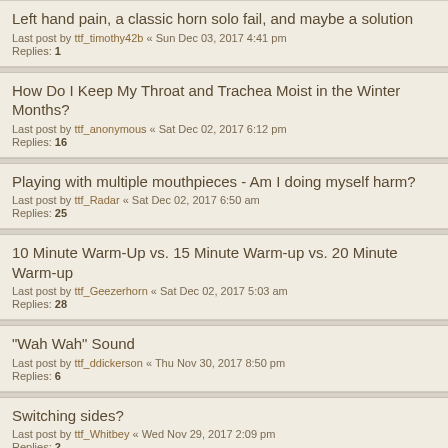Left hand pain, a classic horn solo fail, and maybe a solution
Last post by ttf_timothy42b « Sun Dec 03, 2017 4:41 pm
Replies: 1
How Do I Keep My Throat and Trachea Moist in the Winter Months?
Last post by ttf_anonymous « Sat Dec 02, 2017 6:12 pm
Replies: 16
Playing with multiple mouthpieces - Am I doing myself harm?
Last post by ttf_Radar « Sat Dec 02, 2017 6:50 am
Replies: 25
10 Minute Warm-Up vs. 15 Minute Warm-up vs. 20 Minute Warm-up
Last post by ttf_Geezerhorn « Sat Dec 02, 2017 5:03 am
Replies: 28
"Wah Wah" Sound
Last post by ttf_ddickerson « Thu Nov 30, 2017 8:50 pm
Replies: 6
Switching sides?
Last post by ttf_Whitbey « Wed Nov 29, 2017 2:09 pm
Replies: 2